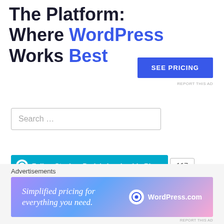The Platform Where WordPress Works Best
[Figure (other): SEE PRICING button (blue rectangle)]
REPORT THIS AD
[Figure (other): Search box with placeholder text 'Search ...']
[Figure (other): Follow Stephen Drain's Leadership Blog button with WordPress icon and follower count 117]
[Figure (other): Close/dismiss button (circle with X)]
Advertisements
[Figure (other): WordPress.com advertisement banner: 'Simplified pricing for everything you need.' with WordPress.com logo on gradient background]